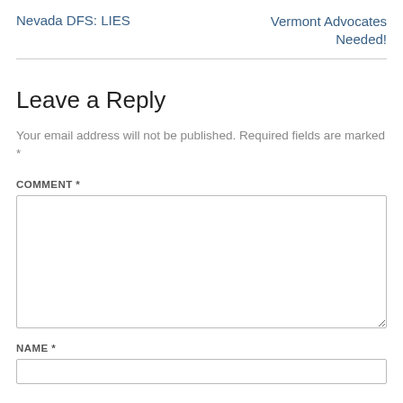Nevada DFS: LIES
Vermont Advocates Needed!
Leave a Reply
Your email address will not be published. Required fields are marked *
COMMENT *
NAME *